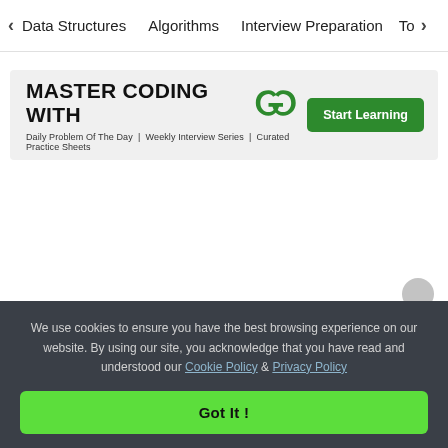< Data Structures   Algorithms   Interview Preparation   Top >
[Figure (infographic): GeeksforGeeks promotional banner: 'MASTER CODING WITH GFG logo' with subtitle 'Daily Problem Of The Day | Weekly Interview Series | Curated Practice Sheets' and a green 'Start Learning' button]
We use cookies to ensure you have the best browsing experience on our website. By using our site, you acknowledge that you have read and understood our Cookie Policy & Privacy Policy
Got It !